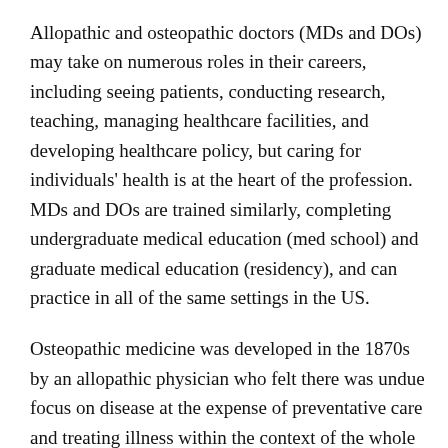Allopathic and osteopathic doctors (MDs and DOs) may take on numerous roles in their careers, including seeing patients, conducting research, teaching, managing healthcare facilities, and developing healthcare policy, but caring for individuals' health is at the heart of the profession. MDs and DOs are trained similarly, completing undergraduate medical education (med school) and graduate medical education (residency), and can practice in all of the same settings in the US.
Osteopathic medicine was developed in the 1870s by an allopathic physician who felt there was undue focus on disease at the expense of preventative care and treating illness within the context of the whole body.
The Association of American Medical Colleges [external link] (AAMC) and Association of American Colleges of Osteopathic Medicine [external link] (AACOM) are collectively known as the...